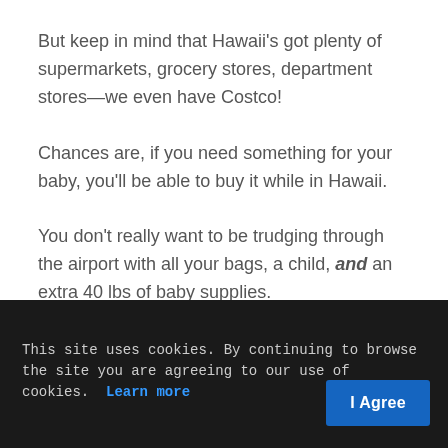But keep in mind that Hawaii's got plenty of supermarkets, grocery stores, department stores—we even have Costco!
Chances are, if you need something for your baby, you'll be able to buy it while in Hawaii.
You don't really want to be trudging through the airport with all your bags, a child, and an extra 40 lbs of baby supplies.
This site uses cookies. By continuing to browse the site you are agreeing to our use of cookies. Learn more